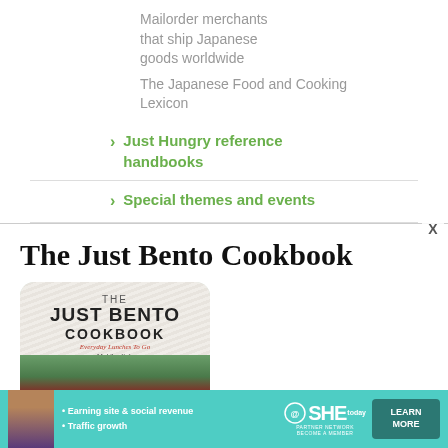Mailorder merchants that ship Japanese goods worldwide
The Japanese Food and Cooking Lexicon
Just Hungry reference handbooks
Special themes and events
The Just Bento Cookbook
[Figure (photo): Book cover of The Just Bento Cookbook by Makiko Itoh showing rice and vegetables]
[Figure (infographic): SHE Partner Network advertisement banner with learn more button]